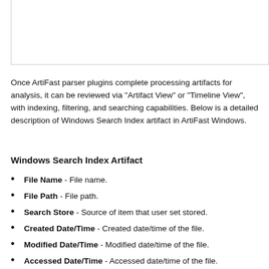[Figure (other): Partial image/screenshot area at the top of the page, mostly white with a border at the bottom.]
Once ArtiFast parser plugins complete processing artifacts for analysis, it can be reviewed via "Artifact View" or "Timeline View", with indexing, filtering, and searching capabilities. Below is a detailed description of Windows Search Index artifact in ArtiFast Windows.
Windows Search Index Artifact
File Name - File name.
File Path - File path.
Search Store - Source of item that user set stored.
Created Date/Time - Created date/time of the file.
Modified Date/Time - Modified date/time of the file.
Accessed Date/Time - Accessed date/time of the file.